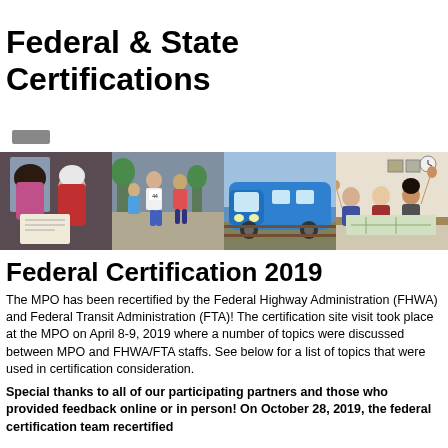Federal & State Certifications
[Figure (photo): Four photos side by side: two women looking at documents, runners in a race, a blue train, and people with raised hands in a meeting room]
Federal Certification 2019
The MPO has been recertified by the Federal Highway Administration (FHWA) and Federal Transit Administration (FTA)! The certification site visit took place at the MPO on April 8-9, 2019 where a number of topics were discussed between MPO and FHWA/FTA staffs. See below for a list of topics that were used in certification consideration.
Special thanks to all of our participating partners and those who provided feedback online or in person! On October 28, 2019, the federal certification team recertified